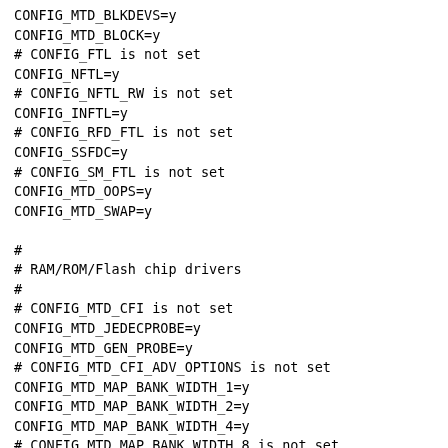CONFIG_MTD_BLKDEVS=y
CONFIG_MTD_BLOCK=y
# CONFIG_FTL is not set
CONFIG_NFTL=y
# CONFIG_NFTL_RW is not set
CONFIG_INFTL=y
# CONFIG_RFD_FTL is not set
CONFIG_SSFDC=y
# CONFIG_SM_FTL is not set
CONFIG_MTD_OOPS=y
CONFIG_MTD_SWAP=y

#
# RAM/ROM/Flash chip drivers
#
# CONFIG_MTD_CFI is not set
CONFIG_MTD_JEDECPROBE=y
CONFIG_MTD_GEN_PROBE=y
# CONFIG_MTD_CFI_ADV_OPTIONS is not set
CONFIG_MTD_MAP_BANK_WIDTH_1=y
CONFIG_MTD_MAP_BANK_WIDTH_2=y
CONFIG_MTD_MAP_BANK_WIDTH_4=y
# CONFIG_MTD_MAP_BANK_WIDTH_8 is not set
# CONFIG_MTD_MAP_BANK_WIDTH_16 is not set
# CONFIG_MTD_MAP_BANK_WIDTH_32 is not set